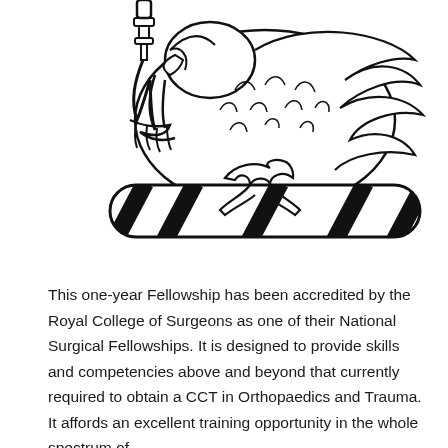[Figure (illustration): Black and white heraldic illustration of an eagle or lion holding a scepter, perched on a barber's pole or twisted staff, part of a Royal College of Surgeons crest or emblem.]
This one-year Fellowship has been accredited by the Royal College of Surgeons as one of their National Surgical Fellowships. It is designed to provide skills and competencies above and beyond that currently required to obtain a CCT in Orthopaedics and Trauma. It affords an excellent training opportunity in the whole spectrum of